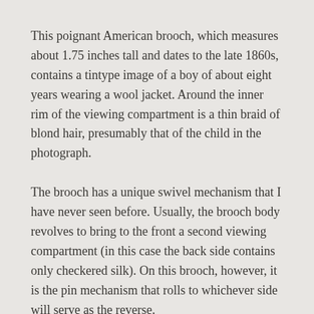This poignant American brooch, which measures about 1.75 inches tall and dates to the late 1860s, contains a tintype image of a boy of about eight years wearing a wool jacket. Around the inner rim of the viewing compartment is a thin braid of blond hair, presumably that of the child in the photograph.
The brooch has a unique swivel mechanism that I have never seen before. Usually, the brooch body revolves to bring to the front a second viewing compartment (in this case the back side contains only checkered silk). On this brooch, however, it is the pin mechanism that rolls to whichever side will serve as the reverse.